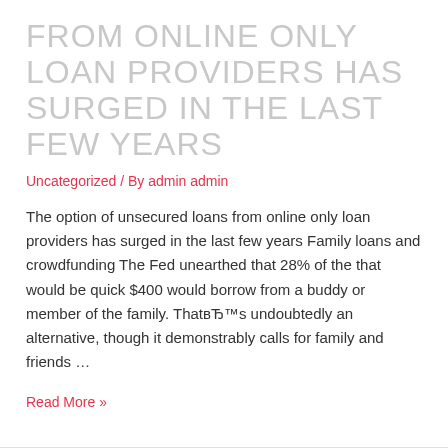FROM ONLINE ONLY LOAN PROVIDERS HAS SURGED IN THE LAST FEW YEARS
Uncategorized / By admin admin
The option of unsecured loans from online only loan providers has surged in the last few years Family loans and crowdfunding The Fed unearthed that 28% of the that would be quick $400 would borrow from a buddy or member of the family. ThatвЂ™s undoubtedly an alternative, though it demonstrably calls for family and friends …
Read More »